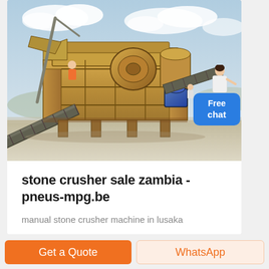[Figure (photo): Photograph of a mobile stone crushing machine / portable rock crusher plant on an outdoor construction or quarry site. The machine has a large wooden-orange colored frame with conveyor belts, drums, and processing equipment. Workers visible. Sky with clouds in background.]
stone crusher sale zambia - pneus-mpg.be
manual stone crusher machine in lusaka